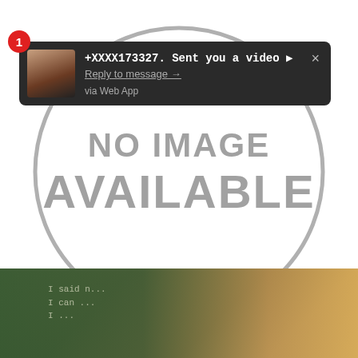[Figure (screenshot): A dark notification popup/toast from a messaging app, showing a female avatar, the message '+XXXX173327. Sent you a video ▶', a 'Reply to message →' link, and 'via Web App' text, with a red badge showing '1' and a close (×) button. Behind it is a large circle with 'NO IMAGE AVAILABLE' text. Below is a partial photo of a person near a chalkboard.]